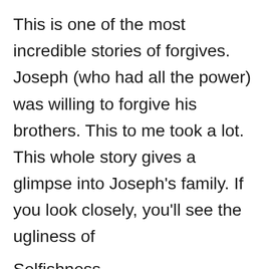This is one of the most incredible stories of forgives. Joseph (who had all the power) was willing to forgive his brothers. This to me took a lot. This whole story gives a glimpse into Joseph's family. If you look closely, you'll see the ugliness of
Selfishness
Petty Jealousy